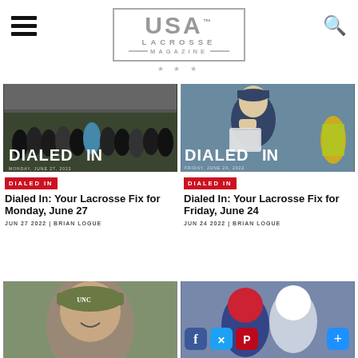USA Lacrosse Magazine
[Figure (photo): Group photo at lacrosse field with DIALED IN Monday June 27 2022 overlay]
DIALED IN
Dialed In: Your Lacrosse Fix for Monday, June 27
JUN 27 2022 | BRIAN LOGUE
[Figure (photo): Female lacrosse coach with DIALED IN Friday June 24 2022 overlay]
DIALED IN
Dialed In: Your Lacrosse Fix for Friday, June 24
JUN 24 2022 | BRIAN LOGUE
[Figure (photo): Man in cap smiling outdoors]
[Figure (photo): Lacrosse players with social media sharing icons overlay]